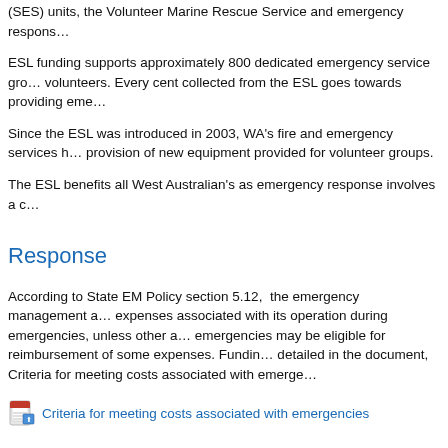(SES) units, the Volunteer Marine Rescue Service and emergency respons...
ESL funding supports approximately 800 dedicated emergency service gro... volunteers. Every cent collected from the ESL goes towards providing eme...
Since the ESL was introduced in 2003, WA's fire and emergency services h... provision of new equipment provided for volunteer groups.
The ESL benefits all West Australian's as emergency response involves a c...
Response
According to State EM Policy section 5.12, the emergency management a... expenses associated with its operation during emergencies, unless other a... emergencies may be eligible for reimbursement of some expenses. Fundin... detailed in the document, Criteria for meeting costs associated with emerge...
Criteria for meeting costs associated with emergencies
Relief and Recovery